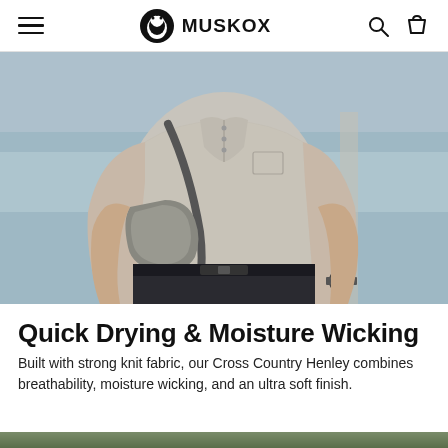MuskOx
[Figure (photo): Man wearing a grey heather knit henley polo shirt with a crossbody bag, standing near water, wearing dark pants and a black watch. Photo is cropped to show torso and arms.]
Quick Drying & Moisture Wicking
Built with strong knit fabric, our Cross Country Henley combines breathability, moisture wicking, and an ultra soft finish.